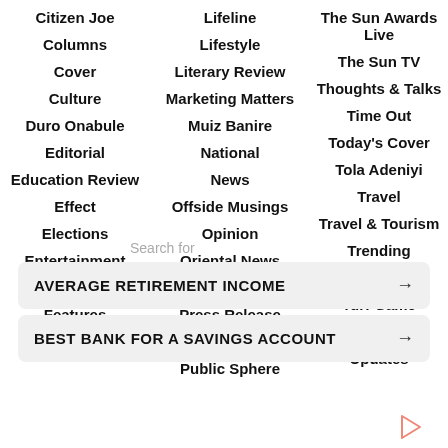Citizen Joe
Columns
Cover
Culture
Duro Onabule
Editorial
Education Review
Effect
Elections
Entertainment
Events
Features
Femi Adesina
Lifeline
Lifestyle
Literary Review
Marketing Matters
Muiz Banire
National
News
Offside Musings
Opinion
Oriental News
Politics
Press Release
PressClips
Public Sphere
The Sun Awards Live
The Sun TV
Thoughts & Talks
Time Out
Today's Cover
Tola Adeniyi
Travel
Travel & Tourism
Trending
TSWeekend
Turf Game
Uncategorized
Updates
Search for
AVERAGE RETIREMENT INCOME →
BEST BANK FOR A SAVINGS ACCOUNT →